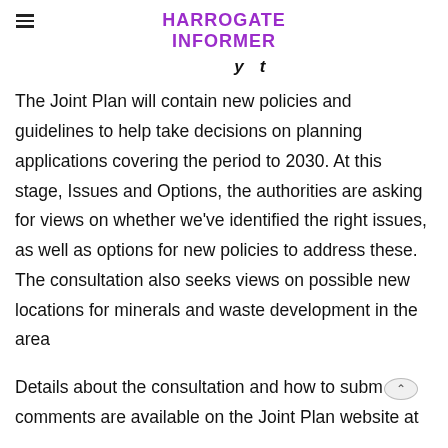HARROGATE INFORMER
The Joint Plan will contain new policies and guidelines to help take decisions on planning applications covering the period to 2030. At this stage, Issues and Options, the authorities are asking for views on whether we've identified the right issues, as well as options for new policies to address these. The consultation also seeks views on possible new locations for minerals and waste development in the area
Details about the consultation and how to submit comments are available on the Joint Plan website at